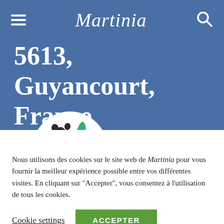Martinia
5613, Guyancourt, France
[Figure (logo): Circular logo with dark spots and green leaf/teardrop shapes on a white background]
Nous utilisons des cookies sur le site web de Martinia pour vous fournir la meilleur expérience possible entre vos différentes visites. En cliquant sur "Accepter", vous consentez à l'utilisation de tous les cookies.
Cookie settings | ACCEPTER